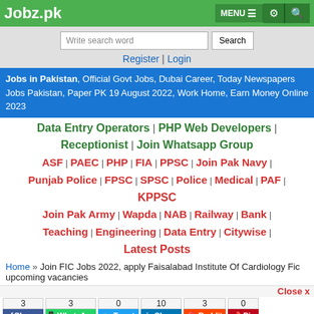Jobz.pk  MENU  [settings] [search]
Write search word  Search
Register | Login
Jobs in Pakistan, Official Govt Jobs, Dubai Career, Today Newspapers Jobs Pakistan, Paper PK 19 August 2022, Work Home, Earn Money Online 2023
Data Entry Operators | PHP Web Developers | Receptionist | Join Whatsapp Group ASF | PAEC | PHP | FIA | PPSC | Join Pak Navy | Punjab Police | FPSC | SPSC | Police | Medical | PAF | KPPSC Join Pak Army | Wapda | NAB | Railway | Bank | Teaching | Engineering | Data Entry | Citywise | Latest Posts
Home » Join FIC Jobs 2022, apply Faisalabad Institute Of Cardiology Fic upcoming vacancies
Close x
3 Share  3 WhatsApp  0 Tweet  10 Share  3 Reddit  0 Pin
Prizebond | Scholarship | Interns | Employers | Alerts | Login  Follow this organization  Rate this organization